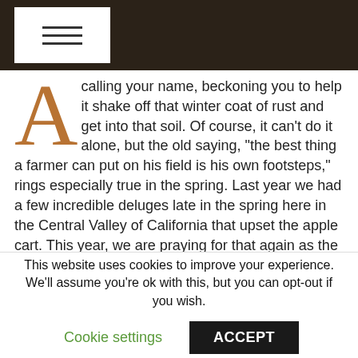≡ (navigation menu)
A calling your name, beckoning you to help it shake off that winter coat of rust and get into that soil. Of course, it can't do it alone, but the old saying, “the best thing a farmer can put on his field is his own footsteps,” rings especially true in the spring. Last year we had a few incredible deluges late in the spring here in the Central Valley of California that upset the apple cart. This year, we are praying for that again as the drought pattern has set in early. Until then, we need to see what has changed over winter, under our trees, with a good soil sample.
This website uses cookies to improve your experience. We'll assume you're ok with this, but you can opt-out if you wish.
Cookie settings   ACCEPT